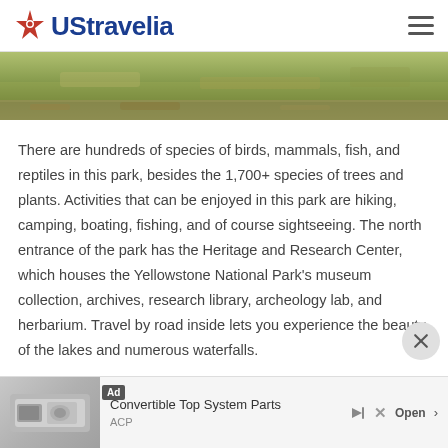UStravelia
[Figure (photo): Landscape image of grassland/prairie terrain with yellowed grass and earth tones, cropped strip at top of content area]
There are hundreds of species of birds, mammals, fish, and reptiles in this park, besides the 1,700+ species of trees and plants. Activities that can be enjoyed in this park are hiking, camping, boating, fishing, and of course sightseeing. The north entrance of the park has the Heritage and Research Center, which houses the Yellowstone National Park's museum collection, archives, research library, archeology lab, and herbarium. Travel by road inside lets you experience the beauty of the lakes and numerous waterfalls.
[Figure (advertisement): Ad banner: Convertible Top System Parts — ACP — Open button]